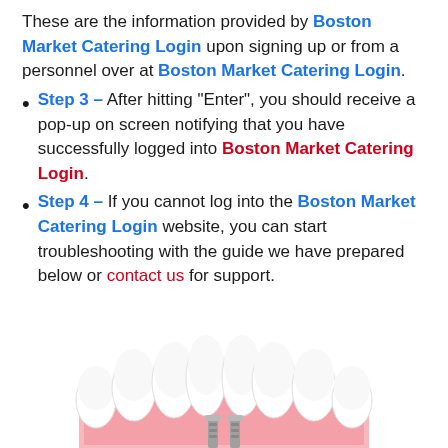These are the information provided by Boston Market Catering Login upon signing up or from a personnel over at Boston Market Catering Login.
Step 3 – After hitting "Enter", you should receive a pop-up on screen notifying that you have successfully logged into Boston Market Catering Login.
Step 4 – If you cannot log into the Boston Market Catering Login website, you can start troubleshooting with the guide we have prepared below or contact us for support.
[Figure (illustration): 3D dental implant illustration showing a lower jaw model with white teeth and pink gums, with two metal implant posts visible at the bottom center]